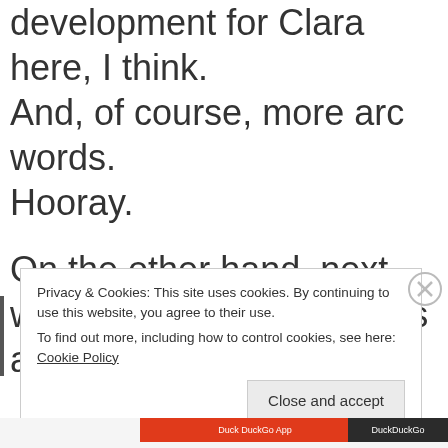development for Clara here, I think. And, of course, more arc words. Hooray.
On the other hand, next week we get some vikings and Maisie Williams!
Privacy & Cookies: This site uses cookies. By continuing to use this website, you agree to their use. To find out more, including how to control cookies, see here: Cookie Policy